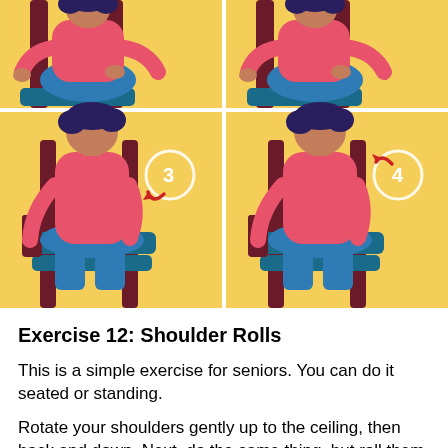[Figure (illustration): Four-panel illustration showing a person seated in a chair performing shoulder rolls exercise. Top two panels show steps 1 and 2 (partial view, top portion cut off). Bottom two panels show steps 3 and 4 with numbered circular badges and red arrows indicating rotation direction.]
Exercise 12: Shoulder Rolls
This is a simple exercise for seniors. You can do it seated or standing.
Rotate your shoulders gently up to the ceiling, then back and down. Next, do the same thing, but roll them forwards and then